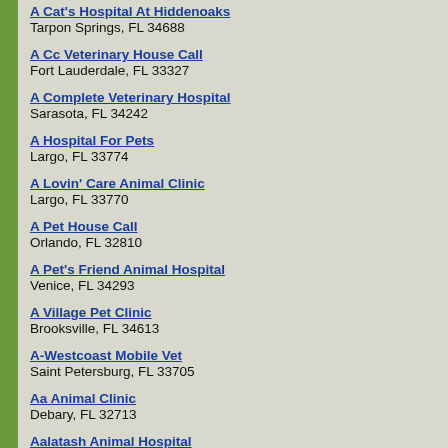A Cat's Hospital At Hiddenoaks
Tarpon Springs, FL 34688
A Cc Veterinary House Call
Fort Lauderdale, FL 33327
A Complete Veterinary Hospital
Sarasota, FL 34242
A Hospital For Pets
Largo, FL 33774
A Lovin' Care Animal Clinic
Largo, FL 33770
A Pet House Call
Orlando, FL 32810
A Pet's Friend Animal Hospital
Venice, FL 34293
A Village Pet Clinic
Brooksville, FL 34613
A-Westcoast Mobile Vet
Saint Petersburg, FL 33705
Aa Animal Clinic
Debary, FL 32713
Aalatash Animal Hospital